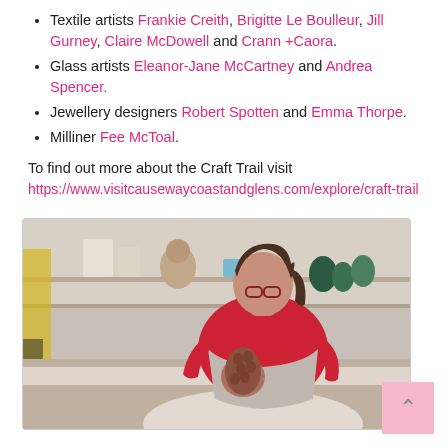Textile artists Frankie Creith, Brigitte Le Boulleur, Jill Gurney, Claire McDowell and Crann +Caora.
Glass artists Eleanor-Jane McCartney and Andrea Spencer.
Jewellery designers Robert Spotten and Emma Thorpe.
Milliner Fee McToal.
To find out more about the Craft Trail visit https://www.visitcausewaycoastandglens.com/explore/craft-trail
[Figure (photo): A woman wearing a red top and grey apron works on a clay or ceramic piece in an art studio. Shelves with pottery and ceramics are visible in the background.]